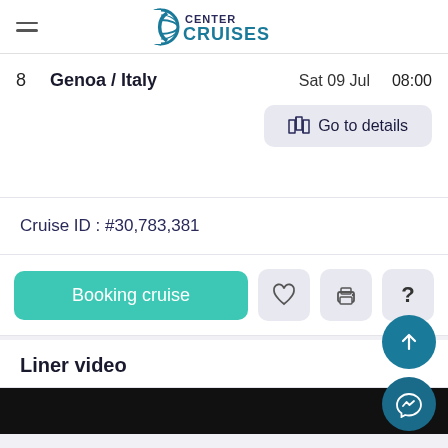CENTER CRUISES
| # | Port | Date | Time |
| --- | --- | --- | --- |
| 8 | Genoa / Italy | Sat 09 Jul | 08:00 |
Go to details
Cruise ID : #30,783,381
Booking cruise
Liner video